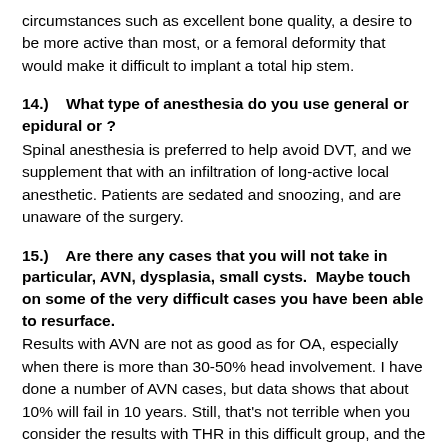circumstances such as excellent bone quality, a desire to be more active than most, or a femoral deformity that would make it difficult to implant a total hip stem.
14.)   What type of anesthesia do you use general or epidural or ?
Spinal anesthesia is preferred to help avoid DVT, and we supplement that with an infiltration of long-active local anesthetic. Patients are sedated and snoozing, and are unaware of the surgery.
15.)   Are there any cases that you will not take in particular, AVN, dysplasia, small cysts.  Maybe touch on some of the very difficult cases you have been able to resurface.
Results with AVN are not as good as for OA, especially when there is more than 30-50% head involvement. I have done a number of AVN cases, but data shows that about 10% will fail in 10 years. Still, that's not terrible when you consider the results with THR in this difficult group, and the ease of revision if a resurfacing is done first.